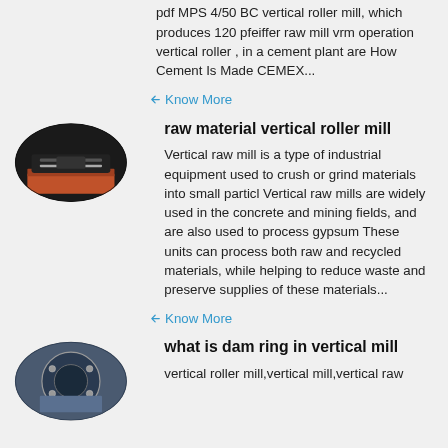pdf MPS 4/50 BC vertical roller mill, which produces 120 pfeiffer raw mill vrm operation vertical roller , in a cement plant are How Cement Is Made CEMEX...
Know More
[Figure (photo): Oval-shaped photo of industrial vertical roller mill machinery interior]
raw material vertical roller mill
Vertical raw mill is a type of industrial equipment used to crush or grind materials into small particl Vertical raw mills are widely used in the concrete and mining fields, and are also used to process gypsum These units can process both raw and recycled materials, while helping to reduce waste and preserve supplies of these materials...
Know More
[Figure (photo): Oval-shaped photo of industrial dam ring component in vertical mill]
what is dam ring in vertical mill
vertical roller mill,vertical mill,vertical raw